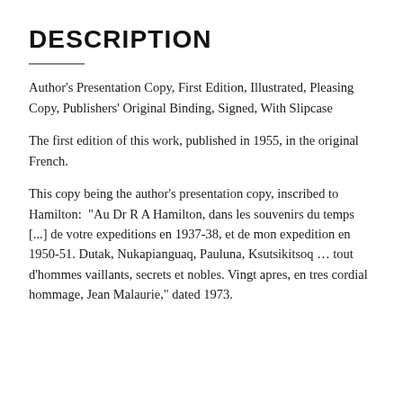DESCRIPTION
Author's Presentation Copy, First Edition, Illustrated, Pleasing Copy, Publishers' Original Binding, Signed, With Slipcase
The first edition of this work, published in 1955, in the original French.
This copy being the author's presentation copy, inscribed to Hamilton:  "Au Dr R A Hamilton, dans les souvenirs du temps [...] de votre expeditions en 1937-38, et de mon expedition en 1950-51. Dutak, Nukapianguaq, Pauluna, Ksutsikitsoq … tout d'hommes vaillants, secrets et nobles. Vingt apres, en tres cordial hommage, Jean Malaurie," dated 1973.